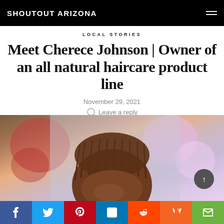SHOUTOUT ARIZONA
LOCAL STORIES
Meet Cherece Johnson | Owner of an all natural haircare product line
November 29, 2021
Leave a reply
[Figure (photo): Photo of a Black woman with braided hair, photographed from below showing top of head, pink and soft bokeh background]
Social share buttons: Facebook, Twitter, Pinterest, LinkedIn, Reddit, Mix, Email